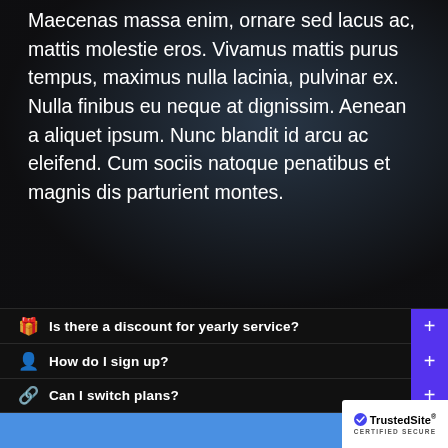Maecenas massa enim, ornare sed lacus ac, mattis molestie eros. Vivamus mattis purus tempus, maximus nulla lacinia, pulvinar ex. Nulla finibus eu neque at dignissim. Aenean a aliquet ipsum. Nunc blandit id arcu ac eleifend. Cum sociis natoque penatibus et magnis dis parturient montes.
Is there a discount for yearly service?
How do I sign up?
Can I switch plans?